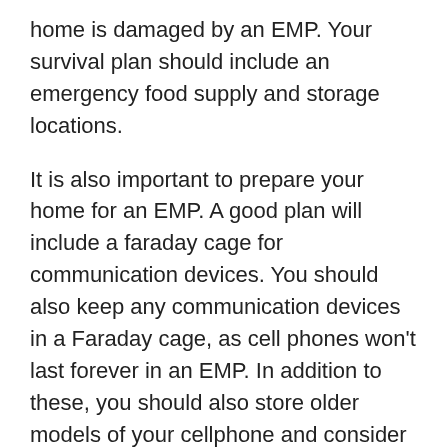home is damaged by an EMP. Your survival plan should include an emergency food supply and storage locations.
It is also important to prepare your home for an EMP. A good plan will include a faraday cage for communication devices. You should also keep any communication devices in a Faraday cage, as cell phones won't last forever in an EMP. In addition to these, you should also store older models of your cellphone and consider moving to the west coast. This is a safer area to live, since there are fewer nuclear reactors in the western part of the country.
A massive EMP can cause massive destruction. In the US, one nuclear bomb in the sky will disable